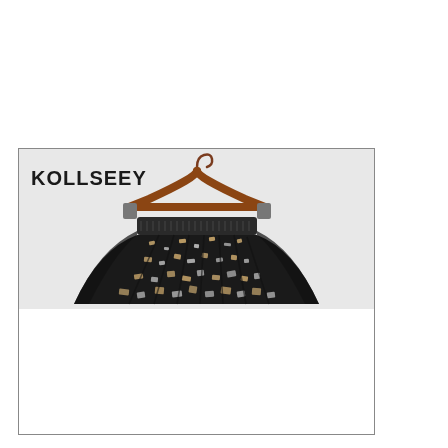[Figure (photo): Product listing image for KOLLSEEY brand showing a sequined/sparkly pleated skirt hanging on a brown wooden hanger against a light gray/white background. The skirt has a dark elastic waistband and features a floral sequin pattern in black, silver, and gold tones. The image is framed with a thin border and the brand name KOLLSEEY appears in bold in the upper left corner.]